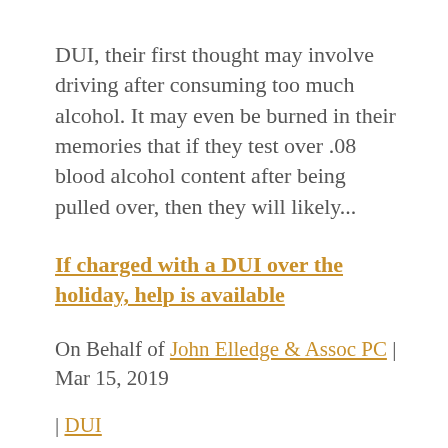DUI, their first thought may involve driving after consuming too much alcohol. It may even be burned in their memories that if they test over .08 blood alcohol content after being pulled over, then they will likely...
If charged with a DUI over the holiday, help is available
On Behalf of John Elledge & Assoc PC | Mar 15, 2019 | DUI
Many people in Harrisonburg will probably use St. Patrick's Day to take some time to relax with friends and family. Of course, one of the common customs of this holiday is to drink beer and other alcohol.Most Virginians try to drink responsibly when they choose to...